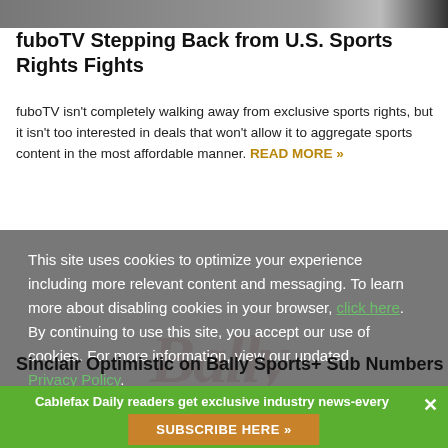[Figure (photo): Top portion of a sports-related image, partially cropped, dark tones]
fuboTV Stepping Back from U.S. Sports Rights Fights
fuboTV isn't completely walking away from exclusive sports rights, but it isn't too interested in deals that won't allow it to aggregate sports content in the most affordable manner. READ MORE »
This site uses cookies to optimize your experience including more relevant content and messaging. To learn more about disabling cookies in your browser, click here. By continuing to use this site, you accept our use of cookies. For more information, view our updated Privacy Policy.
[Figure (logo): Bally Sports logo watermark in dark red cursive script]
Sinclair Optimistic on Bally Sports+ Sub Numbers
Cablefax Daily readers get exclusive industry news-every business day.
Consent
SUBSCRIBE HERE »
million subs: READ MORE